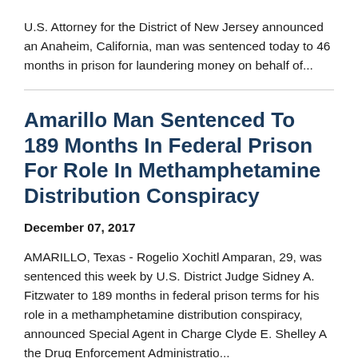U.S. Attorney for the District of New Jersey announced an Anaheim, California, man was sentenced today to 46 months in prison for laundering money on behalf of...
Amarillo Man Sentenced To 189 Months In Federal Prison For Role In Methamphetamine Distribution Conspiracy
December 07, 2017
AMARILLO, Texas - Rogelio Xochitl Amparan, 29, was sentenced this week by U.S. District Judge Sidney A. Fitzwater to 189 months in federal prison terms for his role in a methamphetamine distribution conspiracy, announced Special Agent in Charge Clyde E. Shelley, Jr. A the Drug Enforcement Administration...